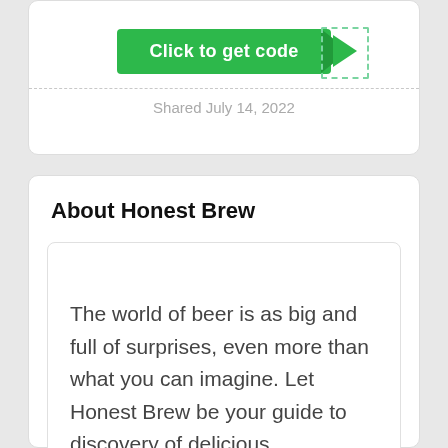[Figure (screenshot): Green 'Click to get code' button with a dark green arrow/ribbon decoration and a dashed border box on the right side]
Shared July 14, 2022
About Honest Brew
The world of beer is as big and full of surprises, even more than what you can imagine. Let Honest Brew be your guide to discovery of delicious